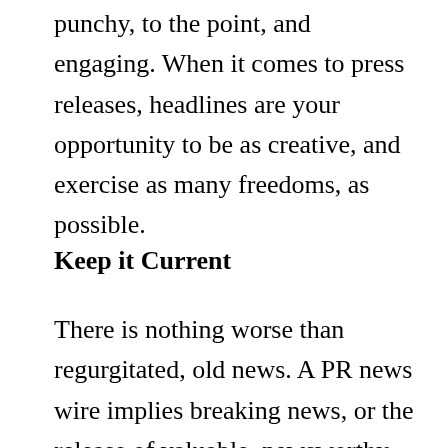punchy, to the point, and engaging. When it comes to press releases, headlines are your opportunity to be as creative, and exercise as many freedoms, as possible.
Keep it Current
There is nothing worse than regurgitated, old news. A PR news wire implies breaking news, or the release of valuable, newsworthy information. Build company reputation and trust by remaining as current, and as